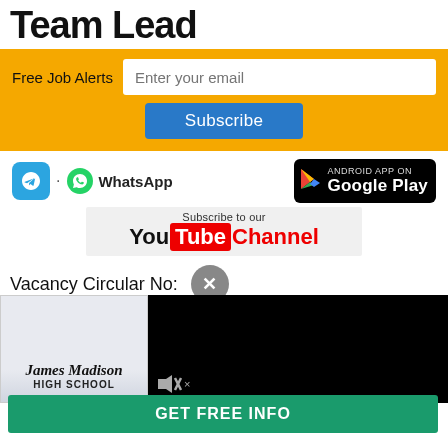Team Lead
Free Job Alerts  [email input: Enter your email]  [Subscribe button]
[Figure (infographic): Social media icons: Telegram icon, WhatsApp icon with text, Google Play badge (Android App on Google Play)]
[Figure (infographic): Subscribe to our YouTube Channel logo]
Vacancy Circular No:
[Figure (infographic): Close (X) button overlay, black video area with mute icon, James Madison High School advertisement]
GET FREE INFO